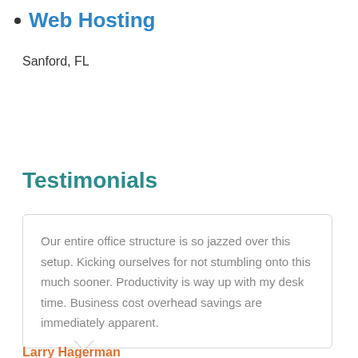Web Hosting
Sanford, FL
Testimonials
Our entire office structure is so jazzed over this setup. Kicking ourselves for not stumbling onto this much sooner. Productivity is way up with my desk time. Business cost overhead savings are immediately apparent.
Larry Hagerman